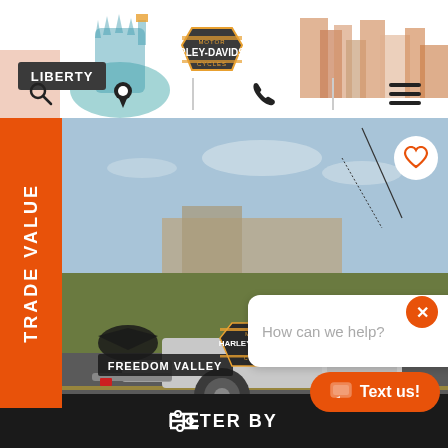[Figure (screenshot): Liberty Harley-Davidson dealership website header with Statue of Liberty graphic and city skyline background, showing search, location, phone, and menu icons]
[Figure (photo): Outdoor photograph of a motorcycle trailer at a dealership lot with Freedom Valley Harley-Davidson and Harley-Davidson logo overlays, and a chat help bubble saying 'How can we help?']
TRADE VALUE
How can we help?
Text us!
FILTER BY